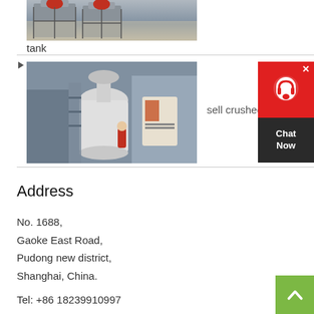[Figure (photo): Industrial crushing/grinding equipment on steel frames in a factory setting]
tank
[Figure (photo): Large industrial grinding mill machine with control panel in a factory]
sell crushed gravel c granit
[Figure (other): Chat Now widget with red background and headset icon]
Address
No. 1688,
Gaoke East Road,
Pudong new district,
Shanghai, China.
Tel: +86 18239910997